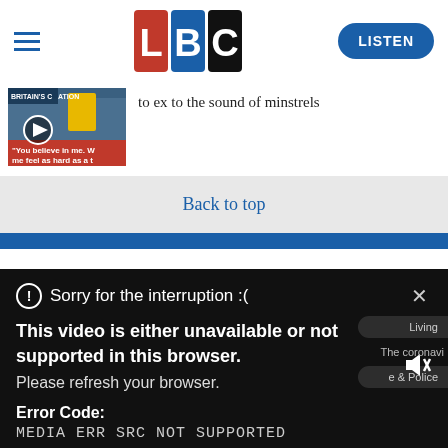[Figure (logo): LBC radio logo with coloured letter blocks L (red), B (blue), C (black) and hamburger menu icon and LISTEN button]
to ex to the sound of minstrels
[Figure (photo): Thumbnail image of a video with play button overlay, showing two men and text 'You believe in me. W me feel as hard as a t']
Back to top
Sorry for the interruption :(
This video is either unavailable or not supported in this browser. Please refresh your browser.
Error Code: MEDIA ERR SRC NOT SUPPORTED